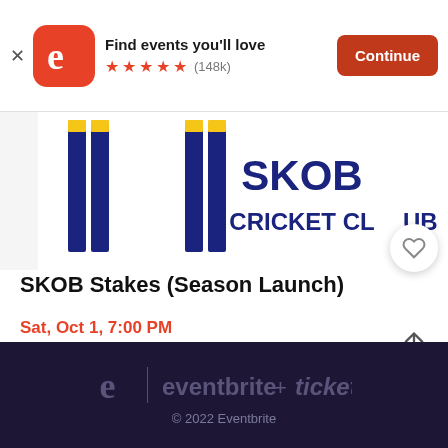[Figure (screenshot): Eventbrite app banner with orange logo, 'Find events you'll love' text, 5 orange stars, (148k) reviews, and a red Continue button]
[Figure (photo): SKOB Cricket Club event banner showing navy blue figures on a white/yellow background with 'SKOB CRICKET CLUB' text in navy]
SKOB Stakes (Season Launch)
Sat, Oct 1, 7:00 PM
1002 Crescent Rd • Glen Iris, VIC
$35
eventbrite + ticketfly
© 2022 Eventbrite